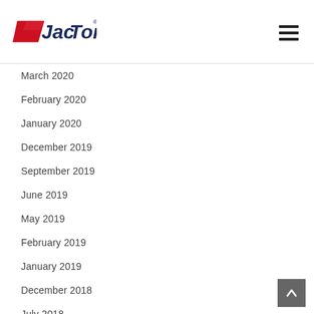[Figure (logo): JacTone logo with red parallelogram shape and dark blue text, registered trademark symbol]
March 2020
February 2020
January 2020
December 2019
September 2019
June 2019
May 2019
February 2019
January 2019
December 2018
July 2018
April 2018
March 2018
February 2018